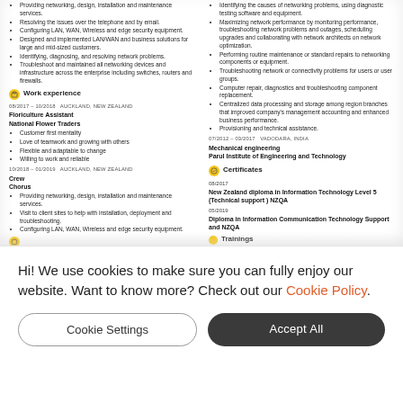Providing networking, design, installation and maintenance services.
Resolving the issues over the telephone and by email.
Configuring LAN, WAN, Wireless and edge security equipment.
Designed and implemented LAN/WAN and business solutions for large and mid-sized customers.
Identifying, diagnosing, and resolving network problems.
Troubleshoot and maintained all networking devices and infrastructure across the enterprise including switches, routers and firewalls.
Work experience
08/2017 – 10/2018   AUCKLAND, NEW ZEALAND
Floriculture Assistant
National Flower Traders
Customer first mentality
Love of teamwork and growing with others
Flexible and adaptable to change
Willing to work and reliable
10/2018 – 01/2019   AUCKLAND, NEW ZEALAND
Crew
Chorus
Providing networking, design, installation and maintenance services.
Visit to client sites to help with installation, deployment and troubleshooting.
Configuring LAN, WAN, Wireless and edge security equipment.
Identifying the causes of networking problems, using diagnostic testing software and equipment.
Maximizing network performance by monitoring performance, troubleshooting network problems and outages, scheduling upgrades and collaborating with network architects on network optimization.
Performing routine maintenance or standard repairs to networking components or equipment.
Troubleshooting network or connectivity problems for users or user groups.
Computer repair, diagnostics and troubleshooting component replacement.
Centralized data processing and storage among region branches that improved company's management accounting and enhanced business performance.
Provisioning and technical assistance.
07/2012 – 03/2017   VADODARA, INDIA
Mechanical engineering
Parul Institute of Engineering and Technology
Certificates
08/2017
New Zealand diploma in Information Technology Level 5 (Technical support ) NZQA
05/2019
Diploma in Information Communication Technology Support and NZQA
Trainings
Hi! We use cookies to make sure you can fully enjoy our website. Want to know more? Check out our Cookie Policy.
Cookie Settings
Accept All